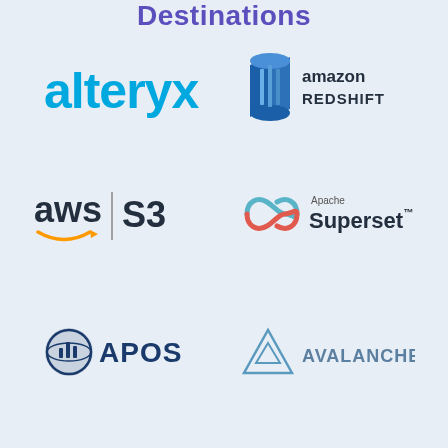Destinations
[Figure (logo): Alteryx logo - teal/blue text]
[Figure (logo): Amazon Redshift logo - blue 3D cylinder icon with 'amazon REDSHIFT' text]
[Figure (logo): AWS S3 logo - aws text with orange smile arrow and S3 text]
[Figure (logo): Apache Superset logo - infinity symbol with 'Apache Superset' text]
[Figure (logo): APOS logo - dark blue globe/chart icon with APOS text]
[Figure (logo): Avalanche logo - triangle mountain icon with AVALANCHE text]